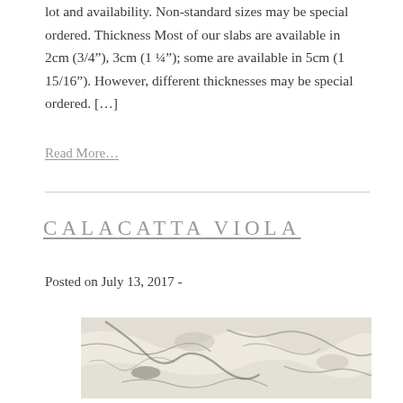lot and availability. Non-standard sizes may be special ordered. Thickness Most of our slabs are available in 2cm (3/4”), 3cm (1 ¼”); some are available in 5cm (1 15/16”). However, different thicknesses may be special ordered. […]
Read More…
CALACATTA VIOLA
Posted on July 13, 2017 -
[Figure (photo): Close-up photograph of Calacatta Viola marble slab showing white background with grey and green veining patterns]